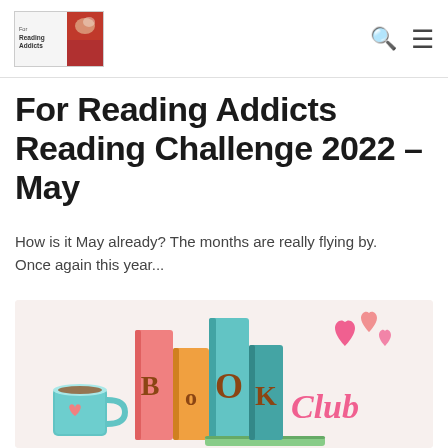For Reading Addicts [logo] [search icon] [menu icon]
For Reading Addicts Reading Challenge 2022 – May
How is it May already? The months are really flying by. Once again this year...
[Figure (illustration): Colorful book club illustration featuring stacked books in pink, orange, and teal with hearts floating above, the text 'BoOk Club' in stylized lettering, and a teal coffee mug with a pink heart at the bottom left.]